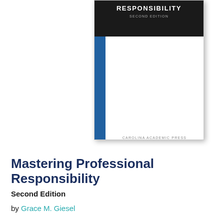[Figure (photo): Book cover of 'Mastering Professional Responsibility, Second Edition' published by Carolina Academic Press, with a dark top section showing the title in white uppercase letters, a blue vertical stripe on the left, and white area below. The cover is displayed against a yellow banner background.]
Mastering Professional Responsibility
Second Edition
by Grace M. Giesel